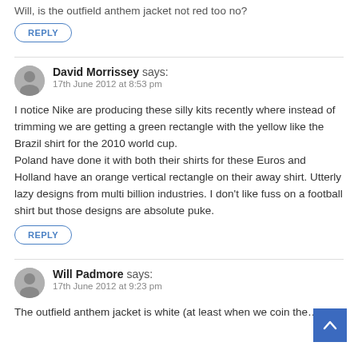Will, is the outfield anthem jacket not red too no?
REPLY
David Morrissey says:
17th June 2012 at 8:53 pm
I notice Nike are producing these silly kits recently where instead of trimming we are getting a green rectangle with the yellow like the Brazil shirt for the 2010 world cup. Poland have done it with both their shirts for these Euros and Holland have an orange vertical rectangle on their away shirt. Utterly lazy designs from multi billion industries. I don't like fuss on a football shirt but those designs are absolute puke.
REPLY
Will Padmore says:
17th June 2012 at 9:23 pm
The outfield anthem jacket is white (at least when we coin the…